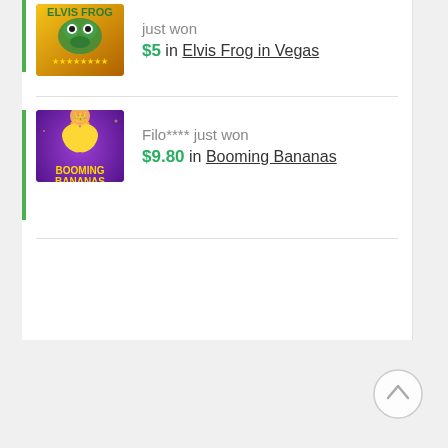$5 in Elvis Frog in Vegas
Filo**** just won $9.80 in Booming Bananas